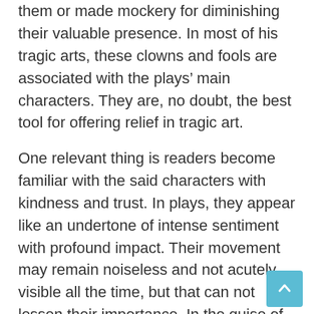them or made mockery for diminishing their valuable presence. In most of his tragic arts, these clowns and fools are associated with the plays' main characters. They are, no doubt, the best tool for offering relief in tragic art.
One relevant thing is readers become familiar with the said characters with kindness and trust. In plays, they appear like an undertone of intense sentiment with profound impact. Their movement may remain noiseless and not acutely visible all the time, but that can not lessen their importance. In the guise of mirth and hilarity, an invisible law of humanity always keeps going in Shakespearean dramas. In a word, Shakespeare's humorous touch in the tragic art help reducing the